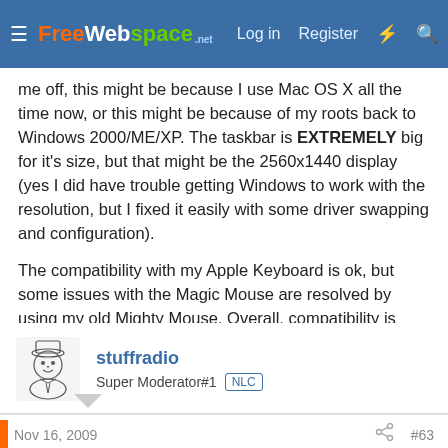FreeWebSpace.net — Log in | Register
me off, this might be because I use Mac OS X all the time now, or this might be because of my roots back to Windows 2000/ME/XP. The taskbar is EXTREMELY big for it's size, but that might be the 2560x1440 display (yes I did have trouble getting Windows to work with the resolution, but I fixed it easily with some driver swapping and configuration).
The compatibility with my Apple Keyboard is ok, but some issues with the Magic Mouse are resolved by using my old Mighty Mouse. Overall, compatibility is good, but I would prefer if it was more supported from Apple's side, as Windows 7 looks incredible on such a huge screen with a resolution to match it.
stuffradio
Super Moderator#1  NLC
Nov 16, 2009  #63